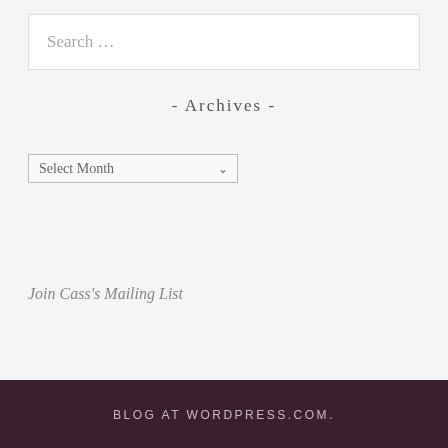Search …
- Archives -
Select Month
Join Cass's Mailing List
Blog at WordPress.com.